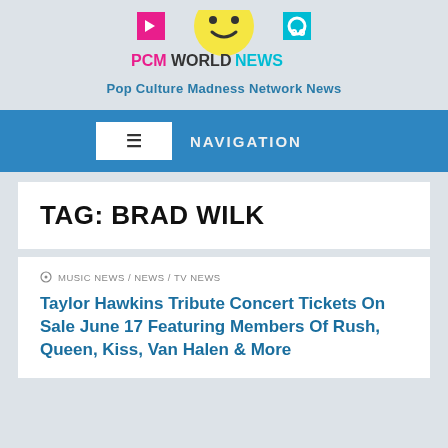[Figure (logo): PCM World News logo with colorful blocks and smiley face icon]
Pop Culture Madness Network News
≡  NAVIGATION
TAG: BRAD WILK
⊙ MUSIC NEWS / NEWS / TV NEWS
Taylor Hawkins Tribute Concert Tickets On Sale June 17 Featuring Members Of Rush, Queen, Kiss, Van Halen & More